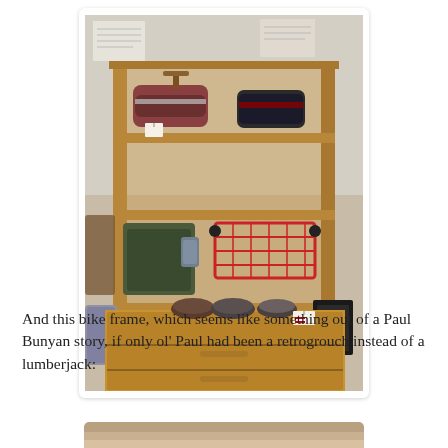[Figure (photo): A wooden shelf unit with three levels on top of a wooden cabinet with drawers. The shelves hold various bags, cases, and accessories including roll bags on top, green canvas bags and a red wire rack on the middle shelf, and several items on the bottom shelf. Small leather saddle-shaped items are displayed on top of the wooden cabinet.]
And this bike frame, which seems like something out of a Paul Bunyan story, if only ol' Paul had been a retrogrouch instead of a lumberjack:
[Figure (photo): Partial view of the bottom of a second photo, showing what appears to be a wooden surface or bike frame.]